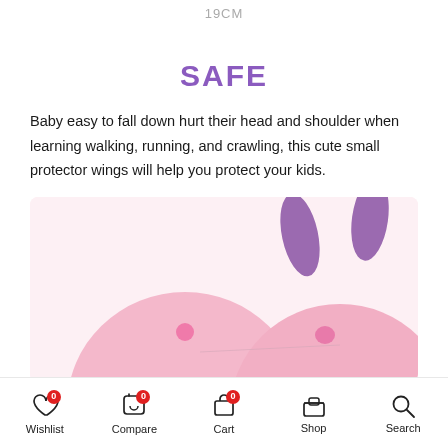19CM
SAFE
Baby easy to fall down hurt their head and shoulder when learning walking, running, and crawling, this cute small protector wings will help you protect your kids.
[Figure (photo): Pink bunny plush baby head protector with purple ears. Text overlay: 'Crystal velvet, soft and skin-friendly']
Wishlist 0 | Compare 0 | Cart 0 | Shop | Search